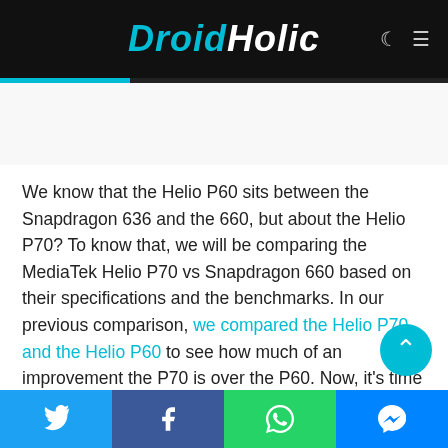DroidHolic
We know that the Helio P60 sits between the Snapdragon 636 and the 660, but about the Helio P70? To know that, we will be comparing the MediaTek Helio P70 vs Snapdragon 660 based on their specifications and the benchmarks. In our previous comparison, we compared the Helio P70 and the Helio P60 to see how much of an improvement the P70 is over the P60. Now, it’s time for the real comparison between the best from MediaTek and the
Twitter | Facebook | WhatsApp | Messenger